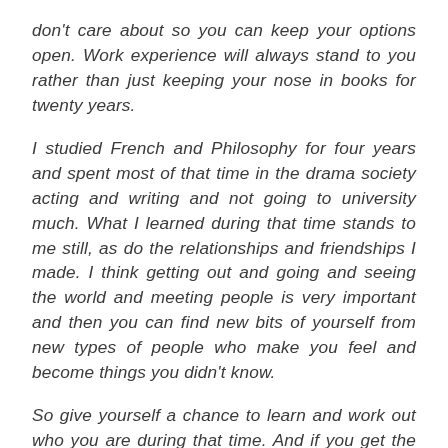don't care about so you can keep your options open. Work experience will always stand to you rather than just keeping your nose in books for twenty years.
I studied French and Philosophy for four years and spent most of that time in the drama society acting and writing and not going to university much. What I learned during that time stands to me still, as do the relationships and friendships I made. I think getting out and going and seeing the world and meeting people is very important and then you can find new bits of yourself from new types of people who make you feel and become things you didn't know.
So give yourself a chance to learn and work out who you are during that time. And if you get the chance later to go back and learn something and didn't get it the first time